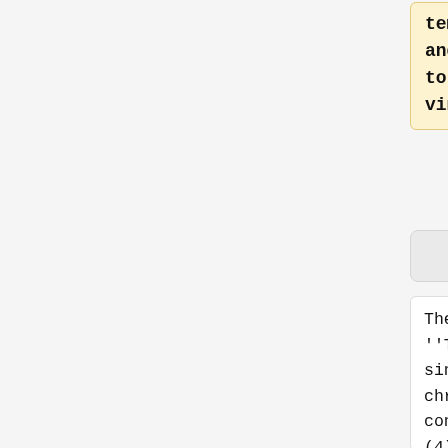temperature and acidity to hot vinegar. (4)
The genome of ''Thermoplasma'' is a single circular chromosome (1.56Mbp, containing 1509 ORFs) (4) and it is one of the smallest microbial genomes ever
The genome of ''Thermoplasma'' is a single circular chromosome (1.56Mbp, containing 1509 ORFs) (4) and it is one of the smallest microbial genomes ever